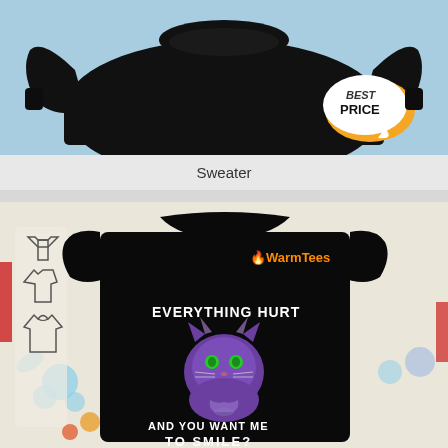[Figure (photo): Black sweatshirt/sweater product photo on light blue background with orange/white 'BEST PRICE' speech bubble badge in bottom right corner]
Sweater
[Figure (photo): Black t-shirt product photo with WarmTees logo, featuring grumpy purple cat graphic with green eyes and text 'EVERYTHING HURT AND YOU WANT ME TO SMILE?' on decorative floral background. Left side shows garment style selector icons (tank top, t-shirt, hoodie).]